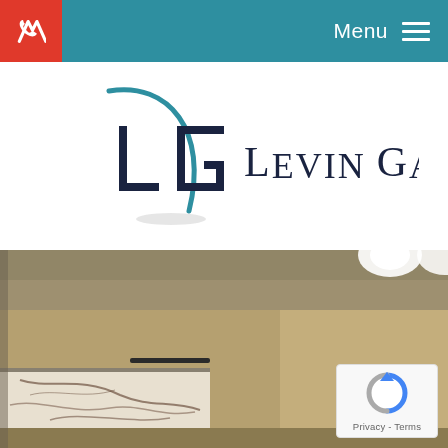Menu
[Figure (logo): Levin Gann PA law firm logo with stylized LG monogram in dark navy and teal, text reads LEVIN GANN PA]
[Figure (photo): Interior photo of a law office lobby with marble wall panel and warm-toned walls, overhead lights visible]
[Figure (logo): Google reCAPTCHA badge with spinning arrow icon and Privacy - Terms text]